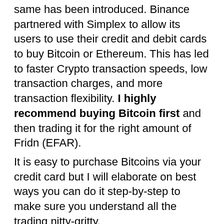same has been introduced. Binance partnered with Simplex to allow its users to use their credit and debit cards to buy Bitcoin or Ethereum. This has led to faster Crypto transaction speeds, low transaction charges, and more transaction flexibility. I highly recommend buying Bitcoin first and then trading it for the right amount of Fridn (EFAR).
It is easy to purchase Bitcoins via your credit card but I will elaborate on best ways you can do it step-by-step to make sure you understand all the trading nitty-gritty.
Move your mouse's cursor to 'Buy Crypto' tab found on the top bar and activate the dropdown menu. Then choose the currency. For instance, US